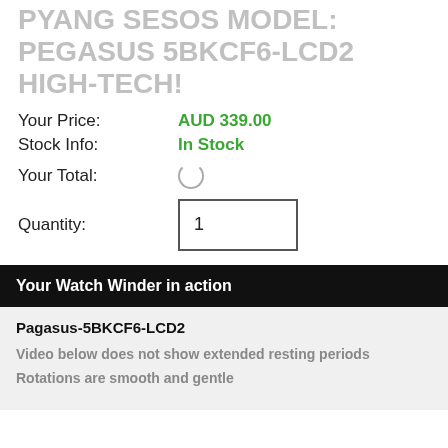PYANG SESOS MODEL: PEGASUS 5BKCF6-LCD2 HIGH-TECH!
Your Price: AUD 339.00
Stock Info: In Stock
Your Total:
Quantity: 1
Your Watch Winder in action
Pagasus-5BKCF6-LCD2
Video below does not show extended resting periods
Rotations are smooth and gentle